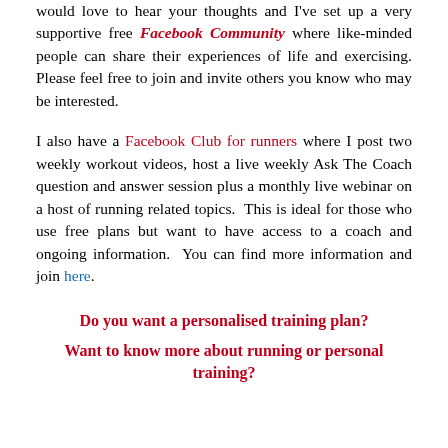would love to hear your thoughts and I've set up a very supportive free Facebook Community where like-minded people can share their experiences of life and exercising. Please feel free to join and invite others you know who may be interested.
I also have a Facebook Club for runners where I post two weekly workout videos, host a live weekly Ask The Coach question and answer session plus a monthly live webinar on a host of running related topics.  This is ideal for those who use free plans but want to have access to a coach and ongoing information.  You can find more information and join here.
Do you want a personalised training plan?
Want to know more about running or personal training?